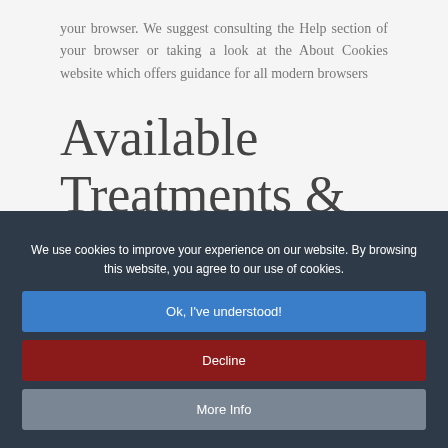your browser. We suggest consulting the Help section of your browser or taking a look at the About Cookies website which offers guidance for all modern browsers
Available Treatments & Prices
We use cookies to improve your experience on our website. By browsing this website, you agree to our use of cookies.
Ok, I've understood!
Decline
More Info